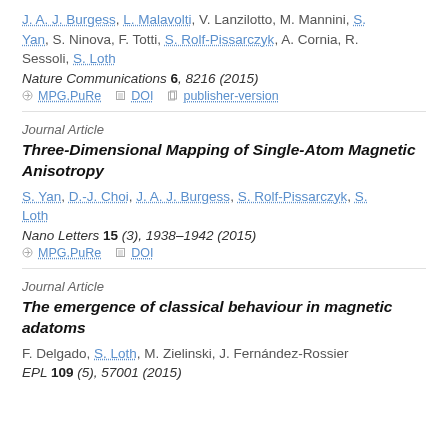J. A. J. Burgess, L. Malavolti, V. Lanzilotto, M. Mannini, S. Yan, S. Ninova, F. Totti, S. Rolf-Pissarczyk, A. Cornia, R. Sessoli, S. Loth
Nature Communications 6, 8216 (2015)
MPG.PuRe  DOI  publisher-version
Journal Article
Three-Dimensional Mapping of Single-Atom Magnetic Anisotropy
S. Yan, D.-J. Choi, J. A. J. Burgess, S. Rolf-Pissarczyk, S. Loth
Nano Letters 15 (3), 1938–1942 (2015)
MPG.PuRe  DOI
Journal Article
The emergence of classical behaviour in magnetic adatoms
F. Delgado, S. Loth, M. Zielinski, J. Fernández-Rossier
EPL 109 (5), 57001 (2015)